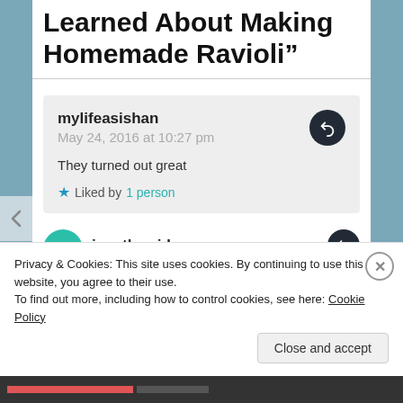Learned About Making Homemade Ravioli”
mylifeasishan
May 24, 2016 at 10:27 pm

They turned out great
★ Liked by 1 person
janetberridge
Privacy & Cookies: This site uses cookies. By continuing to use this website, you agree to their use.
To find out more, including how to control cookies, see here: Cookie Policy
Close and accept